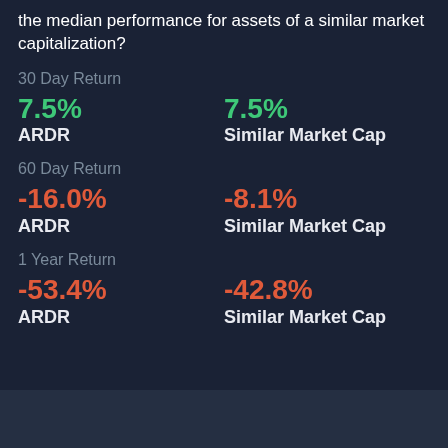the median performance for assets of a similar market capitalization?
30 Day Return
7.5% ARDR
7.5% Similar Market Cap
60 Day Return
-16.0% ARDR
-8.1% Similar Market Cap
1 Year Return
-53.4% ARDR
-42.8% Similar Market Cap